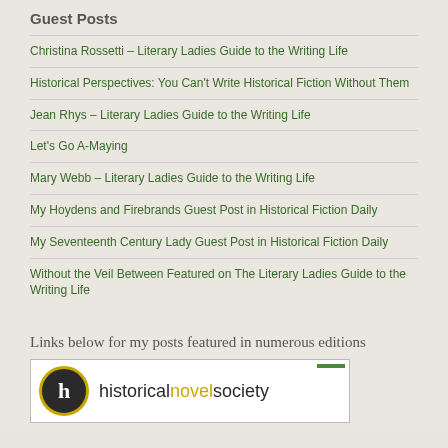Guest Posts
Christina Rossetti – Literary Ladies Guide to the Writing Life
Historical Perspectives: You Can't Write Historical Fiction Without Them
Jean Rhys – Literary Ladies Guide to the Writing Life
Let's Go A-Maying
Mary Webb – Literary Ladies Guide to the Writing Life
My Hoydens and Firebrands Guest Post in Historical Fiction Daily
My Seventeenth Century Lady Guest Post in Historical Fiction Daily
Without the Veil Between Featured on The Literary Ladies Guide to the Writing Life
Links below for my posts featured in numerous editions
[Figure (logo): Historical Novel Society logo with circular H icon in gold ring on dark background and text 'historicalnovelsociety' with 'novel' in gold]